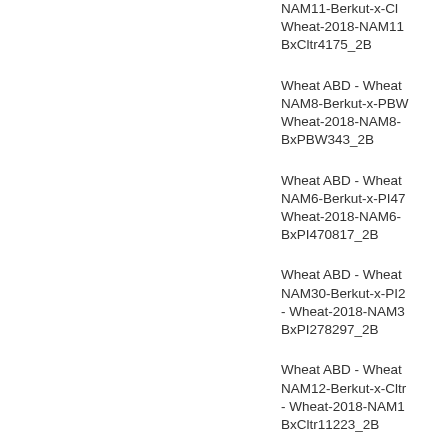NAM11-Berkut-x-Cltr - Wheat-2018-NAM11-BxCltr4175_2B
Wheat ABD - Wheat NAM8-Berkut-x-PBW - Wheat-2018-NAM8-BxPBW343_2B
Wheat ABD - Wheat NAM6-Berkut-x-PI47 - Wheat-2018-NAM6-BxPI470817_2B
Wheat ABD - Wheat NAM30-Berkut-x-PI2 - Wheat-2018-NAM3-BxPI278297_2B
Wheat ABD - Wheat NAM12-Berkut-x-Cltr - Wheat-2018-NAM1-BxCltr11223_2B
Wheat ABD - Wheat NAM11-Berkut-x-Cltr - Wheat-2018-NAM11-BxCltr4175_2B
Wheat ABD - Wheat NAM28-Berkut-x-PI2 - Wheat-2018-NAM2